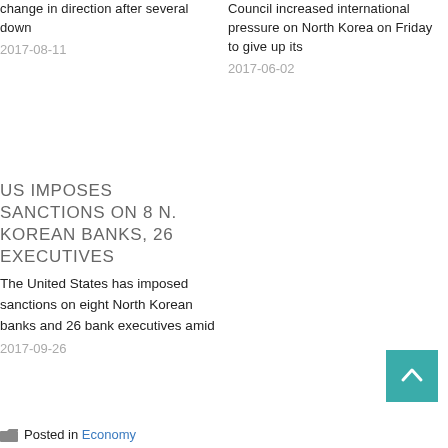change in direction after several down
2017-08-11
Council increased international pressure on North Korea on Friday to give up its
2017-06-02
US IMPOSES SANCTIONS ON 8 N. KOREAN BANKS, 26 EXECUTIVES
The United States has imposed sanctions on eight North Korean banks and 26 bank executives amid
2017-09-26
Posted in Economy